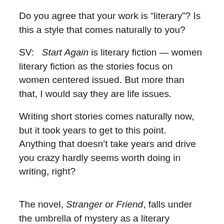Do you agree that your work is “literary”? Is this a style that comes naturally to you?
SV:   Start Again is literary fiction — women literary fiction as the stories focus on women centered issued. But more than that, I would say they are life issues.
Writing short stories comes naturally now, but it took years to get to this point. Anything that doesn’t take years and drive you crazy hardly seems worth doing in writing, right?
The novel, Stranger or Friend, falls under the umbrella of mystery as a literary mystery, rather than police procedural or whodoneit. The difference, I think, is in more character development, a storyline that reaches for broader emotional development — all elements surrounding the murder, and at its heart, the mystery.